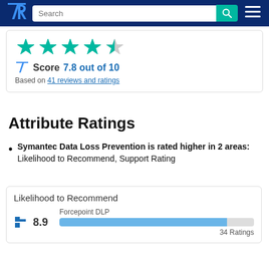[Figure (screenshot): TrustRadius navigation bar with logo, search box, and hamburger menu]
[Figure (infographic): Star rating showing approximately 4.5 out of 5 stars in teal/green color]
Score 7.8 out of 10
Based on 41 reviews and ratings
Attribute Ratings
Symantec Data Loss Prevention is rated higher in 2 areas: Likelihood to Recommend, Support Rating
Likelihood to Recommend
Forcepoint DLP
8.9
34 Ratings